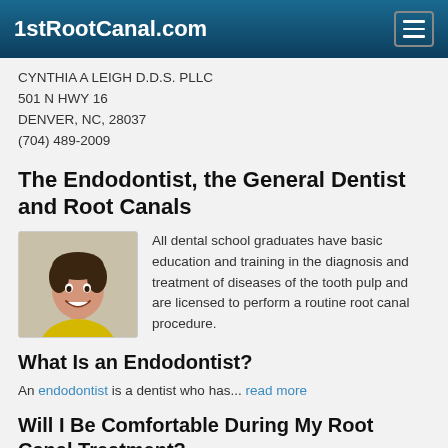1stRootCanal.com
CYNTHIA A LEIGH D.D.S. PLLC
501 N HWY 16
DENVER, NC, 28037
(704) 489-2009
The Endodontist, the General Dentist and Root Canals
[Figure (photo): Young man smiling, wearing a yellow shirt]
All dental school graduates have basic education and training in the diagnosis and treatment of diseases of the tooth pulp and are licensed to perform a routine root canal procedure.
What Is an Endodontist?
An endodontist is a dentist who has... read more
Will I Be Comfortable During My Root Canal Treatment?